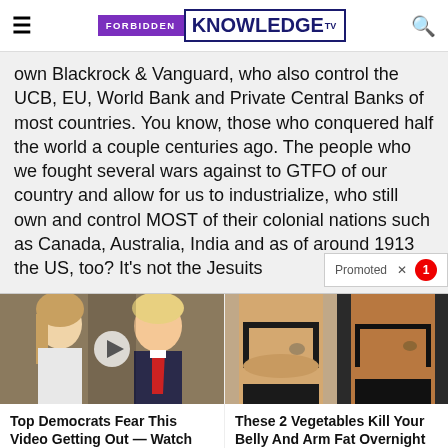FORBIDDEN KNOWLEDGE TV
own Blackrock & Vanguard, who also control the UCB, EU, World Bank and Private Central Banks of most countries. You know, those who conquered half the world a couple centuries ago. The people who we fought several wars against to GTFO of our country and allow for us to industrialize, who still own and control MOST of their colonial nations such as Canada, Australia, India and as of around 1913 the US, too? It's not the Jesuits
[Figure (photo): Two people photo with play button overlay - political figures]
Top Democrats Fear This Video Getting Out — Watch Now Before It's Banned
Watch The Video
[Figure (photo): Before and after photo showing weight loss results]
These 2 Vegetables Kill Your Belly And Arm Fat Overnight
Find Out More